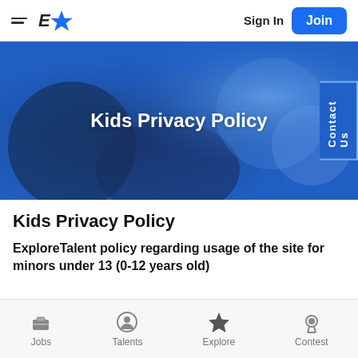E★  Sign In  Join
[Figure (illustration): Blue hero banner with blurred background of a person in blue lighting, with the text 'Kids Privacy Policy' centered in white bold text. A blue 'Contact Us' tab is visible on the right edge.]
Kids Privacy Policy
ExploreTalent policy regarding usage of the site for minors under 13 (0-12 years old)
Jobs  Talents  Explore  Contest